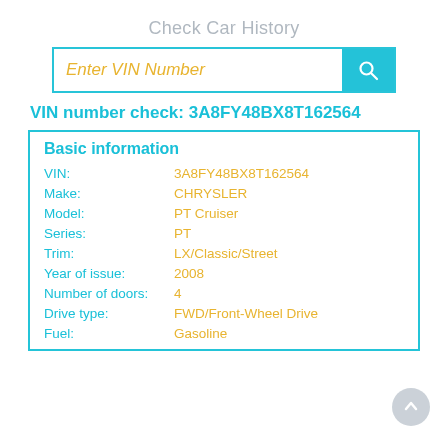Check Car History
Enter VIN Number
VIN number check: 3A8FY48BX8T162564
Basic information
| Field | Value |
| --- | --- |
| VIN: | 3A8FY48BX8T162564 |
| Make: | CHRYSLER |
| Model: | PT Cruiser |
| Series: | PT |
| Trim: | LX/Classic/Street |
| Year of issue: | 2008 |
| Number of doors: | 4 |
| Drive type: | FWD/Front-Wheel Drive |
| Fuel: | Gasoline |